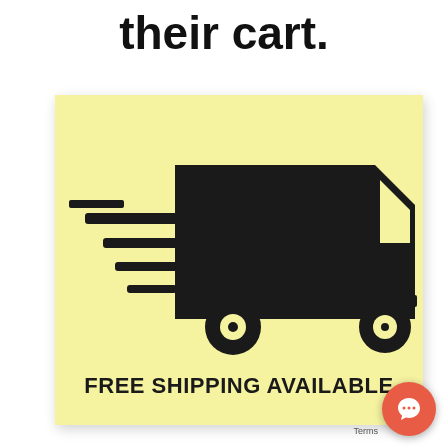their cart.
[Figure (illustration): Yellow square card with a fast-moving delivery truck silhouette (speed lines on left side) on a pale yellow background, with text FREE SHIPPING AVAILABLE below the truck.]